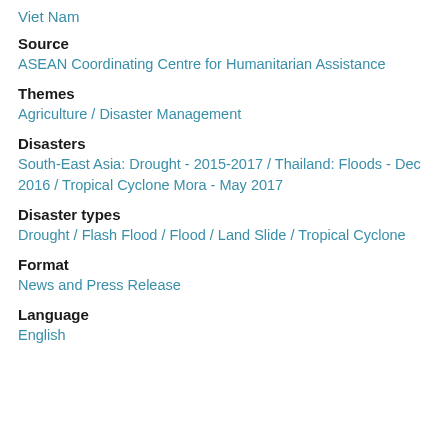Viet Nam
Source
ASEAN Coordinating Centre for Humanitarian Assistance
Themes
Agriculture  /  Disaster Management
Disasters
South-East Asia: Drought - 2015-2017  /  Thailand: Floods - Dec 2016  /  Tropical Cyclone Mora - May 2017
Disaster types
Drought  /  Flash Flood  /  Flood  /  Land Slide  /  Tropical Cyclone
Format
News and Press Release
Language
English